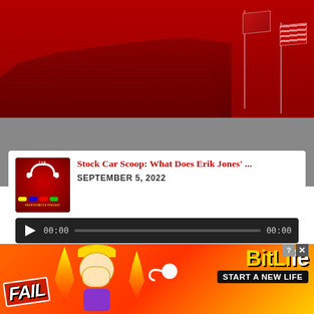[Figure (photo): Red-tinted aerial photo of a NASCAR-style racing stadium with packed grandstands and flagpoles with flags waving]
Stock Car Scoop: What Does Erik Jones' ...
SEPTEMBER 5, 2022
00:00  00:00
[Figure (advertisement): BitLife mobile game advertisement with 'FAIL' text, emoji character facepalming, flames, sperm icon, and 'START A NEW LIFE' slogan on orange/red gradient background]